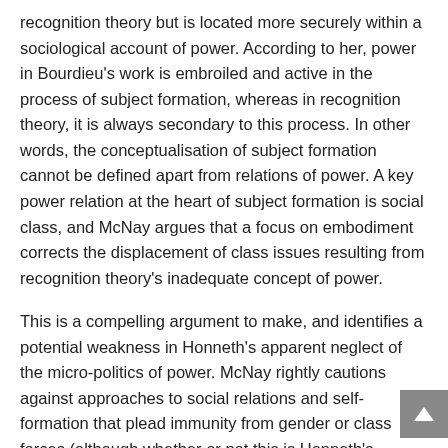recognition theory but is located more securely within a sociological account of power. According to her, power in Bourdieu's work is embroiled and active in the process of subject formation, whereas in recognition theory, it is always secondary to this process. In other words, the conceptualisation of subject formation cannot be defined apart from relations of power. A key power relation at the heart of subject formation is social class, and McNay argues that a focus on embodiment corrects the displacement of class issues resulting from recognition theory's inadequate concept of power.
This is a compelling argument to make, and identifies a potential weakness in Honneth's apparent neglect of the micro-politics of power. McNay rightly cautions against approaches to social relations and self-formation that plead immunity from gender or class forces (although whether or not this is Honneth's